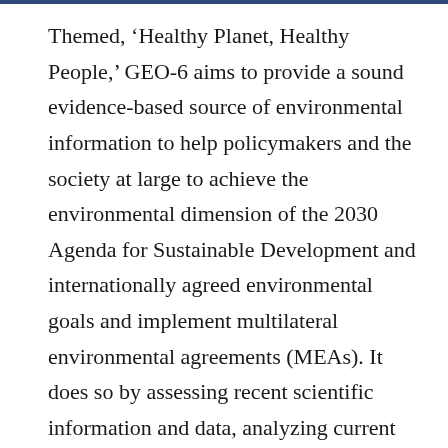Themed, ‘Healthy Planet, Healthy People,’ GEO-6 aims to provide a sound evidence-based source of environmental information to help policymakers and the society at large to achieve the environmental dimension of the 2030 Agenda for Sustainable Development and internationally agreed environmental goals and implement multilateral environmental agreements (MEAs). It does so by assessing recent scientific information and data, analyzing current and past environmental policies and identifying future options to achieve sustainable development by 2050.